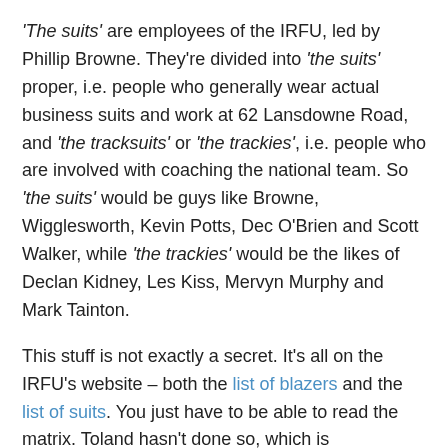'The suits' are employees of the IRFU, led by Phillip Browne. They're divided into 'the suits' proper, i.e. people who generally wear actual business suits and work at 62 Lansdowne Road, and 'the tracksuits' or 'the trackies', i.e. people who are involved with coaching the national team. So 'the suits' would be guys like Browne, Wigglesworth, Kevin Potts, Dec O'Brien and Scott Walker, while 'the trackies' would be the likes of Declan Kidney, Les Kiss, Mervyn Murphy and Mark Tainton.
This stuff is not exactly a secret. It's all on the IRFU's website – both the list of blazers and the list of suits. You just have to be able to read the matrix. Toland hasn't done so, which is disappointing from a guy who has been involved in rugby at a high level as a player, commentator, analyst and journalist – he has mixed things up, and hasn't